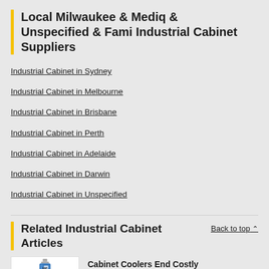Local Milwaukee & Mediq & Unspecified & Fami Industrial Cabinet Suppliers
Industrial Cabinet in Sydney
Industrial Cabinet in Melbourne
Industrial Cabinet in Brisbane
Industrial Cabinet in Perth
Industrial Cabinet in Adelaide
Industrial Cabinet in Darwin
Industrial Cabinet in Unspecified
Related Industrial Cabinet Articles
Back to top ^
Cabinet Coolers End Costly Shutdowns